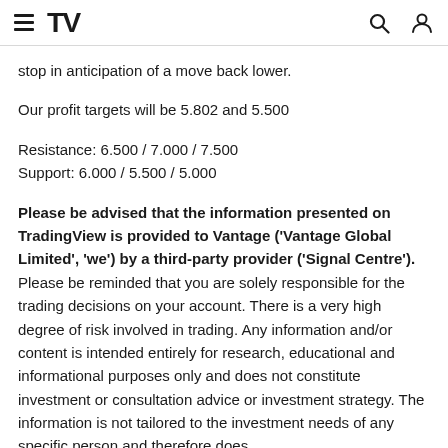TradingView logo and navigation icons
stop in anticipation of a move back lower.
Our profit targets will be 5.802 and 5.500
Resistance: 6.500 / 7.000 / 7.500
Support: 6.000 / 5.500 / 5.000
Please be advised that the information presented on TradingView is provided to Vantage ('Vantage Global Limited', 'we') by a third-party provider ('Signal Centre'). Please be reminded that you are solely responsible for the trading decisions on your account. There is a very high degree of risk involved in trading. Any information and/or content is intended entirely for research, educational and informational purposes only and does not constitute investment or consultation advice or investment strategy. The information is not tailored to the investment needs of any specific person and therefore does